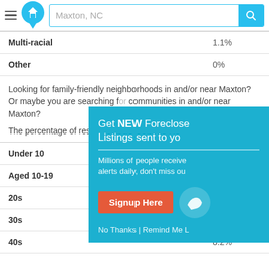Maxton, NC — search bar navigation
| Category | Percentage |
| --- | --- |
| Multi-racial | 1.1% |
| Other | 0% |
Looking for family-friendly neighborhoods in and/or near Maxton? Or maybe you are searching for communities in and/or near Maxton?
The percentage of residents who reported their age is as follows:
| Age Group | Percentage |
| --- | --- |
| Under 10 |  |
| Aged 10-19 |  |
| 20s |  |
| 30s | 10.5% |
| 40s | 8.2% |